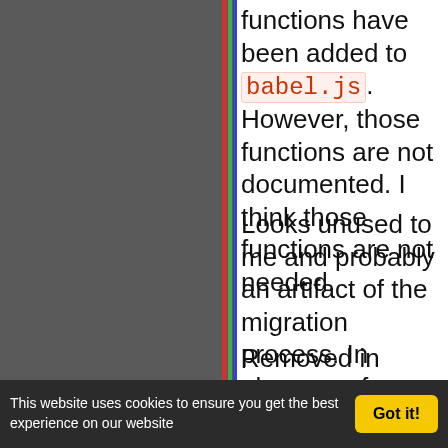functions have been added to babel.js. However, those functions are not documented. I think those functions are not needed.
Looks unused to me and probably an artifact of the migration process. In absence of additional feedback I would say to just remove them before we release 1.4.
Removed in r16299.
This website uses cookies to ensure you get the best experience on our website